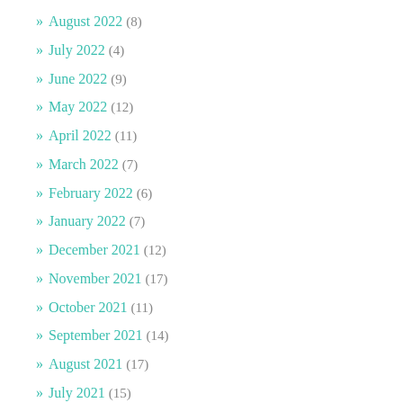» August 2022 (8)
» July 2022 (4)
» June 2022 (9)
» May 2022 (12)
» April 2022 (11)
» March 2022 (7)
» February 2022 (6)
» January 2022 (7)
» December 2021 (12)
» November 2021 (17)
» October 2021 (11)
» September 2021 (14)
» August 2021 (17)
» July 2021 (15)
» June 2021 (15)